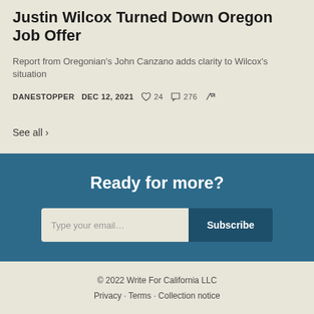Justin Wilcox Turned Down Oregon Job Offer
Report from Oregonian's John Canzano adds clarity to Wilcox's situation
DANESTOPPER  DEC 12, 2021  ♡ 24  💬 276  ↗
See all ›
Ready for more?
Type your email… Subscribe
© 2022 Write For California LLC
Privacy · Terms · Collection notice